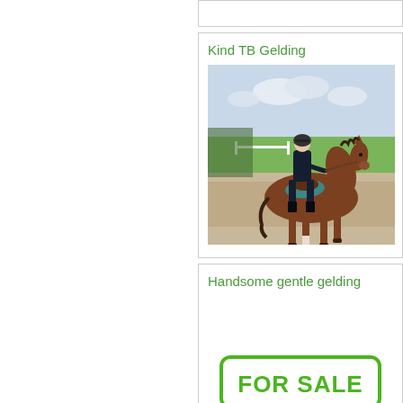Kind TB Gelding
[Figure (photo): A rider in dark clothing sitting on a chestnut/bay horse in an outdoor sandy arena, with green fields and cloudy sky in the background.]
Handsome gentle gelding
[Figure (other): FOR SALE badge with green rounded rectangle border]